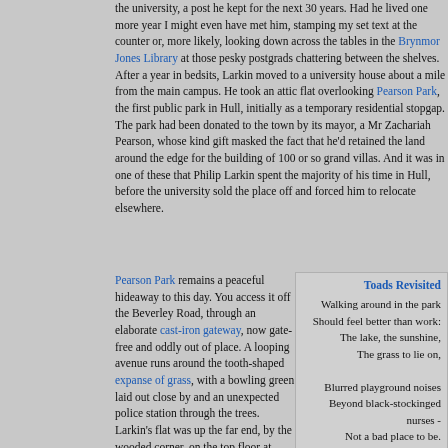the university, a post he kept for the next 30 years. Had he lived one more year I might even have met him, stamping my set text at the counter or, more likely, looking down across the tables in the Brynmor Jones Library at those pesky postgrads chattering between the shelves. After a year in bedsits, Larkin moved to a university house about a mile from the main campus. He took an attic flat overlooking Pearson Park, the first public park in Hull, initially as a temporary residential stopgap. The park had been donated to the town by its mayor, a Mr Zachariah Pearson, whose kind gift masked the fact that he'd retained the land around the edge for the building of 100 or so grand villas. And it was in one of these that Philip Larkin spent the majority of his time in Hull, before the university sold the place off and forced him to relocate elsewhere.
Pearson Park remains a peaceful hideaway to this day. You access it off the Beverley Road, through an elaborate cast-iron gateway, now gate-free and oddly out of place. A looping avenue runs around the tooth-shaped expanse of grass, with a bowling green laid out close by and an unexpected police station through the trees. Larkin's flat was up the far end, by the wooded corner, on the top floor at number 32. But there's no plaque on the gabled frontage, perhaps because the current
[Figure (other): A sidebar box containing a poem titled 'Toads Revisited' with right-aligned verse text.]